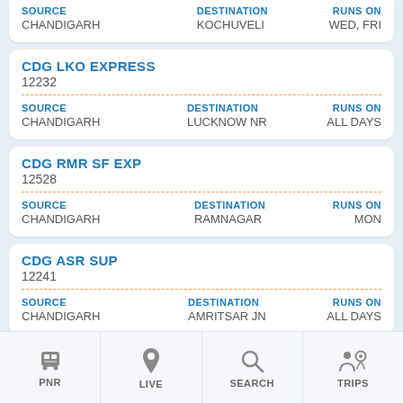SOURCE: CHANDIGARH | DESTINATION: KOCHUVELI | RUNS ON: WED, FRI
CDG LKO EXPRESS
12232
SOURCE: CHANDIGARH | DESTINATION: LUCKNOW NR | RUNS ON: ALL DAYS
CDG RMR SF EXP
12528
SOURCE: CHANDIGARH | DESTINATION: RAMNAGAR | RUNS ON: MON
CDG ASR SUP
12241
SOURCE: CHANDIGARH | DESTINATION: AMRITSAR JN | RUNS ON: ALL DAYS
INTERCITY EXP | 1241...
PNR | LIVE | SEARCH | TRIPS